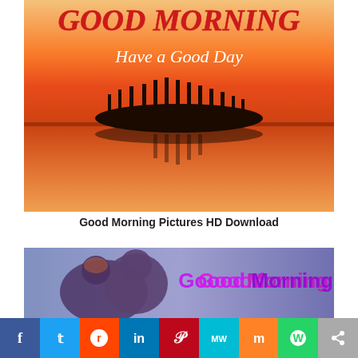[Figure (photo): Sunset over a lake with silhouette of trees on an island, text overlay reads 'GOOD MORNING' in red and 'Have a Good Day' in white italic]
Good Morning Pictures HD Download
[Figure (photo): Couple silhouette with purple/blue lighting, text overlay reads 'Goood Morning' in purple and magenta gradient]
[Figure (infographic): Social media sharing bar with icons: Facebook, Twitter, Reddit, LinkedIn, Pinterest, MeWe, Mix, WhatsApp, Share]